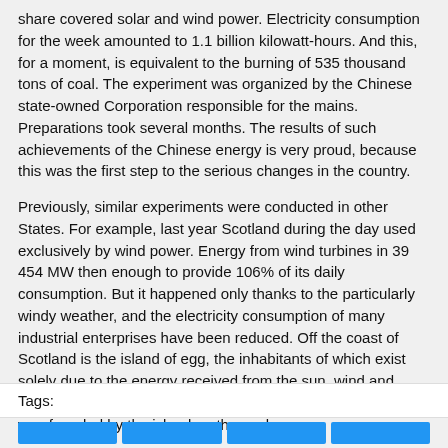share covered solar and wind power. Electricity consumption for the week amounted to 1.1 billion kilowatt-hours. And this, for a moment, is equivalent to the burning of 535 thousand tons of coal. The experiment was organized by the Chinese state-owned Corporation responsible for the mains. Preparations took several months. The results of such achievements of the Chinese energy is very proud, because this was the first step to the serious changes in the country.
Previously, similar experiments were conducted in other States. For example, last year Scotland during the day used exclusively by wind power. Energy from wind turbines in 39 454 MW then enough to provide 106% of its daily consumption. But it happened only thanks to the particularly windy weather, and the electricity consumption of many industrial enterprises have been reduced. Off the coast of Scotland is the island of egg, the inhabitants of which exist solely due to the energy received from the sun, wind and water. For electricity, none of them pays as energy company was founded by the islanders themselves.
Tags: